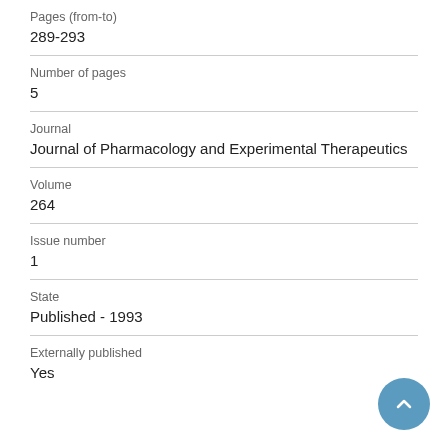Pages (from-to)
289-293
Number of pages
5
Journal
Journal of Pharmacology and Experimental Therapeutics
Volume
264
Issue number
1
State
Published - 1993
Externally published
Yes